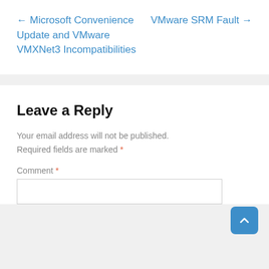← Microsoft Convenience Update and VMware VMXNet3 Incompatibilities
VMware SRM Fault →
Leave a Reply
Your email address will not be published. Required fields are marked *
Comment *